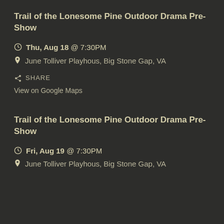Trail of the Lonesome Pine Outdoor Drama Pre-Show
Thu, Aug 18 @ 7:30PM
June Tolliver Playhous, Big Stone Gap, VA
SHARE
View on Google Maps
Trail of the Lonesome Pine Outdoor Drama Pre-Show
Fri, Aug 19 @ 7:30PM
June Tolliver Playhous, Big Stone Gap, VA